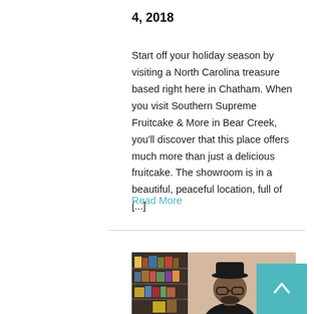4, 2018
Start off your holiday season by visiting a North Carolina treasure based right here in Chatham. When you visit Southern Supreme Fruitcake & More in Bear Creek, you'll discover that this place offers much more than just a delicious fruitcake. The showroom is in a beautiful, peaceful location, full of [...]
Read More
[Figure (photo): A man wearing a black cap and glasses, seated in front of a bookshelf with various books and items.]